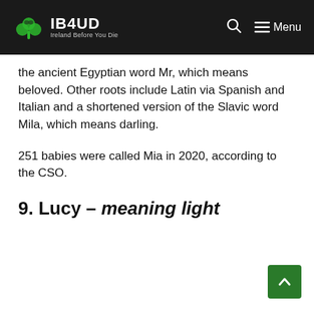IB4UD Ireland Before You Die
the ancient Egyptian word Mr, which means beloved. Other roots include Latin via Spanish and Italian and a shortened version of the Slavic word Mila, which means darling.
251 babies were called Mia in 2020, according to the CSO.
9. Lucy – meaning light